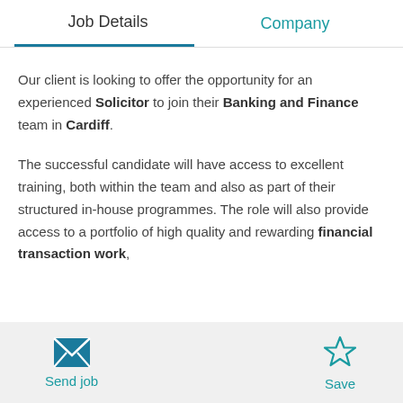Job Details | Company
Our client is looking to offer the opportunity for an experienced Solicitor to join their Banking and Finance team in Cardiff.
The successful candidate will have access to excellent training, both within the team and also as part of their structured in-house programmes. The role will also provide access to a portfolio of high quality and rewarding financial transaction work,
Send job | Save